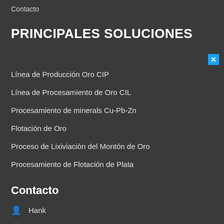Contacto
PRINCIPALES SOLUCIONES
Línea de Producción Oro CIP
Línea de Procesamiento de Oro CIL
Procesamiento de minerals Cu-Pb-Zn
Flotación de Oro
Proceso de Lixiviación del Montón de Oro
Procesamiento de Flotación de Plata
Contacto
🧑 Hank
📱 Tel: +86 15806678589
📞 Wechat: +86 15806678589
🔒 Whatsapp: +86 15806678589
✉ hank@xinhaimining.com